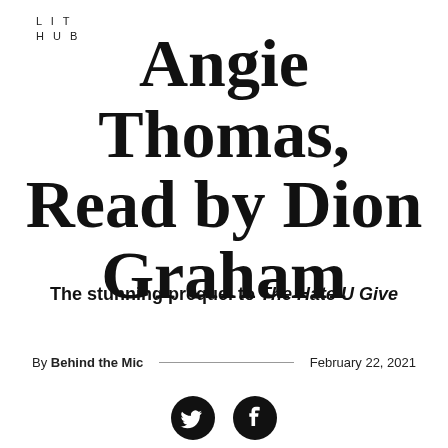LIT HUB
Angie Thomas, Read by Dion Graham
The stunning prequel to The Hate U Give
By Behind the Mic  February 22, 2021
[Figure (illustration): Two circular social media share buttons: Twitter (bird icon) and Facebook (f icon), both black circles with white icons]